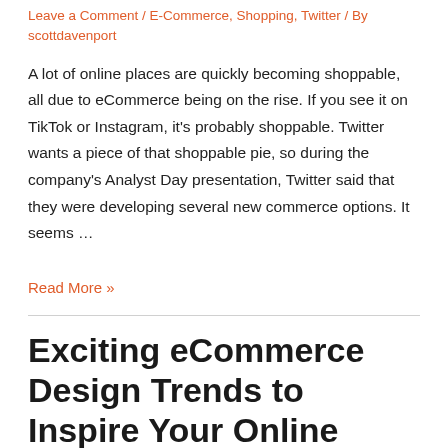Leave a Comment / E-Commerce, Shopping, Twitter / By scottdavenport
A lot of online places are quickly becoming shoppable, all due to eCommerce being on the rise. If you see it on TikTok or Instagram, it's probably shoppable. Twitter wants a piece of that shoppable pie, so during the company's Analyst Day presentation, Twitter said that they were developing several new commerce options. It seems …
Read More »
Exciting eCommerce Design Trends to Inspire Your Online Shop in 2021 (Infographic)